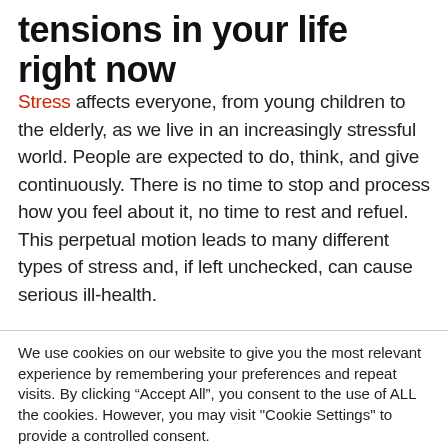tensions in your life right now
Stress affects everyone, from young children to the elderly, as we live in an increasingly stressful world. People are expected to do, think, and give continuously. There is no time to stop and process how you feel about it, no time to rest and refuel. This perpetual motion leads to many different types of stress and, if left unchecked, can cause serious ill-health.
We use cookies on our website to give you the most relevant experience by remembering your preferences and repeat visits. By clicking “Accept All”, you consent to the use of ALL the cookies. However, you may visit "Cookie Settings" to provide a controlled consent.